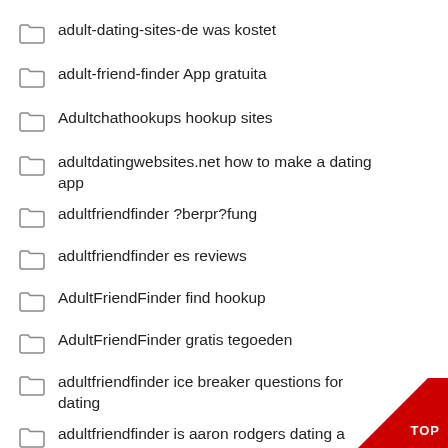adult-dating-sites-de was kostet
adult-friend-finder App gratuita
Adultchathookups hookup sites
adultdatingwebsites.net how to make a dating app
adultfriendfinder ?berpr?fung
adultfriendfinder es reviews
AdultFriendFinder find hookup
AdultFriendFinder gratis tegoeden
adultfriendfinder ice breaker questions for dating
adultfriendfinder is aaron rodgers dating a